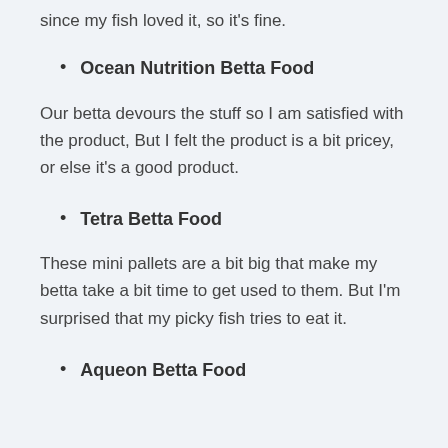since my fish loved it, so it's fine.
Ocean Nutrition Betta Food
Our betta devours the stuff so I am satisfied with the product, But I felt the product is a bit pricey, or else it's a good product.
Tetra Betta Food
These mini pallets are a bit big that make my betta take a bit time to get used to them. But I'm surprised that my picky fish tries to eat it.
Aqueon Betta Food